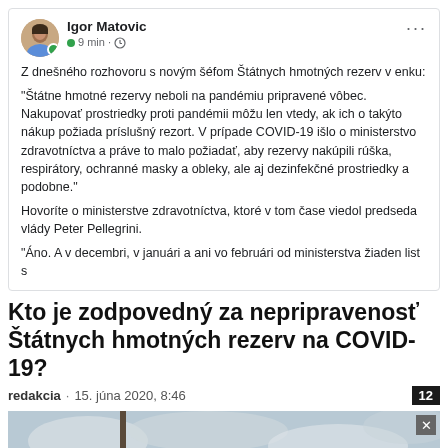[Figure (screenshot): Facebook post by Igor Matovic with profile photo, name, timestamp '9 min', and text about Štátne hmotné rezervy not being prepared for pandemic]
Kto je zodpovedný za nepripravenosť Štátnych hmotných rezerv na COVID-19?
redakcia · 15. júna 2020, 8:46  12
[Figure (photo): Outdoor photo with utility pole and wire against overcast sky, with a BitLife advertisement banner overlay at the bottom]